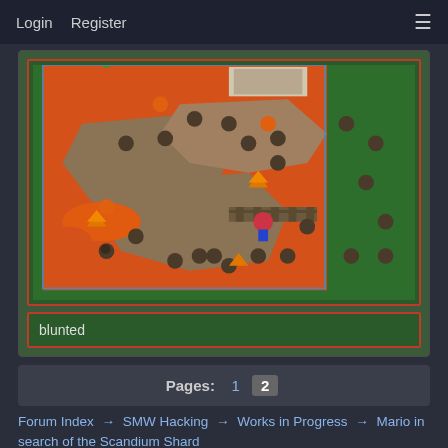Login   Register   ☰
[Figure (screenshot): A Super Mario World hack game screenshot showing a lava/volcanic level with orange lava, grey rock terrain, and various enemies (Goombas, Koopa shells, triangular hazards). The map view shows a pixel-art level with green border area.]
blunted
Pages:  1  2
Forum Index → SMW Hacking → Works in Progress → Mario in search of the Scandium Shard
Link